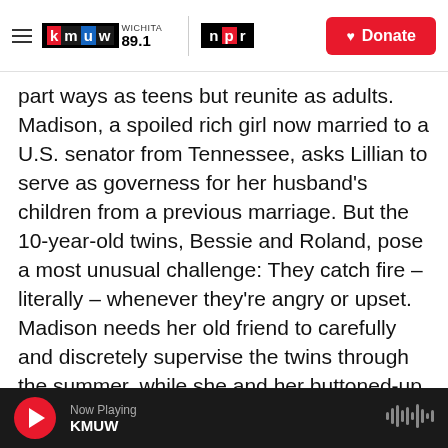KMUW WICHITA 89.1 | NPR | Donate
part ways as teens but reunite as adults. Madison, a spoiled rich girl now married to a U.S. senator from Tennessee, asks Lillian to serve as governess for her husband’s children from a previous marriage. But the 10-year-old twins, Bessie and Roland, pose a most unusual challenge: They catch fire – literally – whenever they’re angry or upset. Madison needs her old friend to carefully and discretely supervise the twins through the summer, while she and her buttoned-up politician husband figure out what to do.
“This is weird, Madison,” Lillian tells her. “You want
Now Playing KMUW